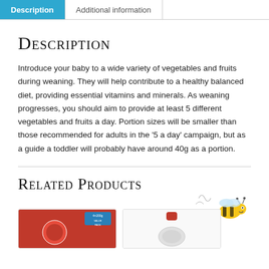Description | Additional information
Description
Introduce your baby to a wide variety of vegetables and fruits during weaning. They will help contribute to a healthy balanced diet, providing essential vitamins and minerals. As weaning progresses, you should aim to provide at least 5 different vegetables and fruits a day. Portion sizes will be smaller than those recommended for adults in the ‘5 a day’ campaign, but as a guide a toddler will probably have around 40g as a portion.
Related Products
[Figure (photo): Two product card images at the bottom and a cartoon bee illustration in the upper right area of the related products section]